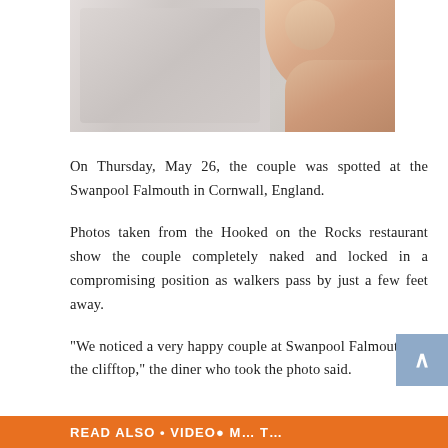[Figure (photo): Close-up photo showing a person's skin and lace/patterned fabric, partially cropped]
On Thursday, May 26, the couple was spotted at the Swanpool Falmouth in Cornwall, England.
Photos taken from the Hooked on the Rocks restaurant show the couple completely naked and locked in a compromising position as walkers pass by just a few feet away.
“We noticed a very happy couple at Swanpool Falmouth, on the clifftop,” the diner who took the photo said.
READ ALSO • VIDEO• M… T…